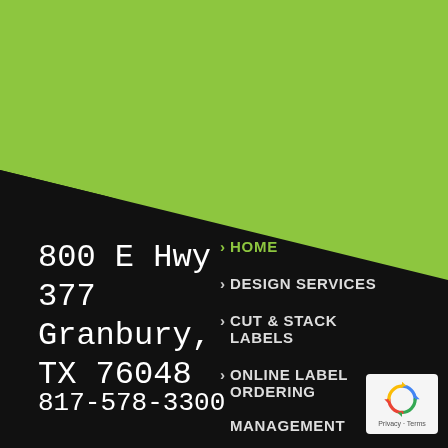[Figure (illustration): Black background with lime green triangle in upper-right area created by a diagonal line from upper-left area to lower-right area.]
800 E Hwy 377
Granbury,
TX 76048
817-578-3300
> HOME
> DESIGN SERVICES
> CUT & STACK LABELS
> ONLINE LABEL ORDERING MANAGEMENT
[Figure (logo): reCAPTCHA badge with blue recycle-style arrows icon, showing Privacy and Terms links below.]